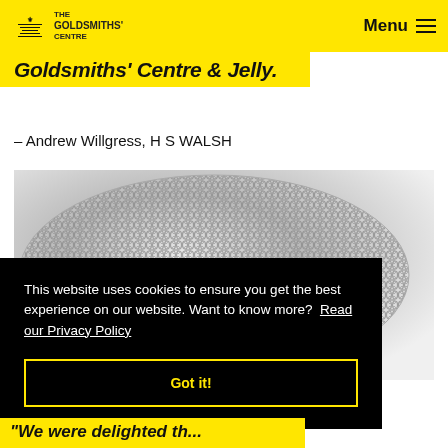The Goldsmiths' Centre — Menu
Goldsmiths' Centre & Jelly.
– Andrew Willgress, H S WALSH
[Figure (photo): Close-up photograph of a silver chainmail or woven metal mesh object against a light grey background]
This website uses cookies to ensure you get the best experience on our website. Want to know more?  Read our Privacy Policy

Got it!